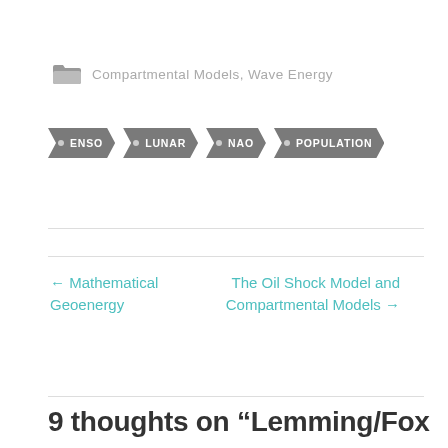Compartmental Models, Wave Energy
ENSO
LUNAR
NAO
POPULATION
← Mathematical Geoenergy
The Oil Shock Model and Compartmental Models →
9 thoughts on “Lemming/Fox